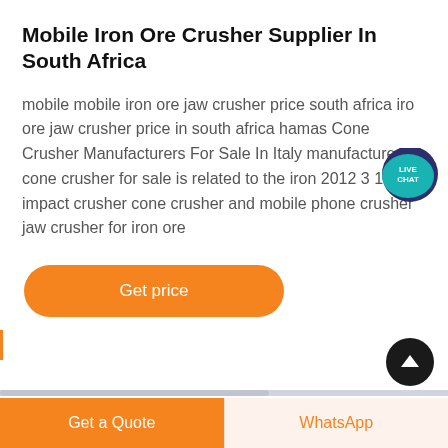Mobile Iron Ore Crusher Supplier In South Africa
mobile mobile iron ore jaw crusher price south africa iro ore jaw crusher price in south africa hamas Cone Crusher Manufacturers For Sale In Italy manufacturer cone crusher for sale is related to the iron 2012 3 1 impact crusher cone crusher and mobile phone crusher jaw crusher for iron ore
[Figure (other): Live Chat speech bubble icon with teal/dark blue color and white text reading LIVE CHAT]
[Figure (other): Orange rounded button labeled Get price]
[Figure (other): Black circular scroll-to-top button with white upward chevron arrow]
Get a Quote  WhatsApp